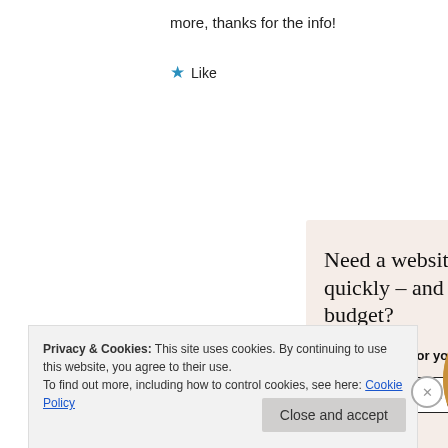more, thanks for the info!
★ Like
[Figure (infographic): Advertisement box with beige background. Heading: 'Need a website quickly – and on a budget?' Subtext: 'Let us build it for you'. Button: 'Let's get started'. Circular image of hands using a device, worn sweater visible.]
Privacy & Cookies: This site uses cookies. By continuing to use this website, you agree to their use.
To find out more, including how to control cookies, see here: Cookie Policy
Close and accept